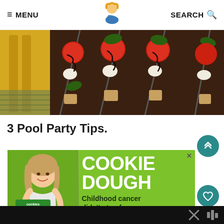≡ MENU   [logo]   SEARCH 🔍
[Figure (photo): Close-up photo of caprese skewers with tomatoes, mozzarella, basil and bread on a yellow plate, drizzled with balsamic glaze]
3 Pool Party Tips.
[Figure (infographic): Advertisement banner on green background showing a girl smiling with a jar of money. Text reads: COOKIE DOUGH - Childhood cancer didn't stop for COVID-19. your HOBBY is their HOPE. Cookies for Kids Cancer logo shown bottom left.]